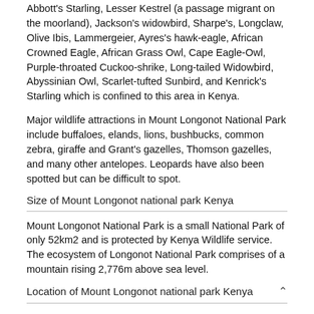Abbott's Starling, Lesser Kestrel (a passage migrant on the moorland), Jackson's widowbird, Sharpe's, Longclaw, Olive Ibis, Lammergeier, Ayres's hawk-eagle, African Crowned Eagle, African Grass Owl, Cape Eagle-Owl, Purple-throated Cuckoo-shrike, Long-tailed Widowbird, Abyssinian Owl, Scarlet-tufted Sunbird, and Kenrick's Starling which is confined to this area in Kenya.
Major wildlife attractions in Mount Longonot National Park include buffaloes, elands, lions, bushbucks, common zebra, giraffe and Grant's gazelles, Thomson gazelles, and many other antelopes. Leopards have also been spotted but can be difficult to spot.
Size of Mount Longonot national park Kenya
Mount Longonot National Park is a small National Park of only 52km2 and is protected by Kenya Wildlife service. The ecosystem of Longonot National Park comprises of a mountain rising 2,776m above sea level.
Location of Mount Longonot national park Kenya